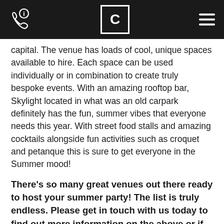C
capital. The venue has loads of cool, unique spaces available to hire. Each space can be used individually or in combination to create truly bespoke events. With an amazing rooftop bar, Skylight located in what was an old carpark definitely has the fun, summer vibes that everyone needs this year. With street food stalls and amazing cocktails alongside fun activities such as croquet and petanque this is sure to get everyone in the Summer mood!
There's so many great venues out there ready to host your summer party! The list is truly endless. Please get in touch with us today to find out more information on the above or if you would like to discuss different options. Send our team an email today at